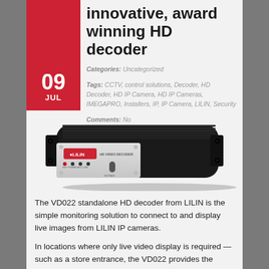innovative, award winning HD decoder
Categories: Uncategorized
Tags: CCTV, control solutions, Decoder, HD Decoder, HD IP Camera, HD IP Cameras, IMEGAPRO, Installers, IP, IP Camera, LILIN, Security
Comments: No
[Figure (photo): LILIN VD022 HD Video Decoder hardware device — black metal enclosure with LILIN branding on silver front panel, showing indicator LEDs and ports]
The VD022 standalone HD decoder from LILIN is the simple monitoring solution to connect to and display live images from LILIN IP cameras.
In locations where only live video display is required — such as a store entrance, the VD022 provides the solution to connect a camera to your IP system.